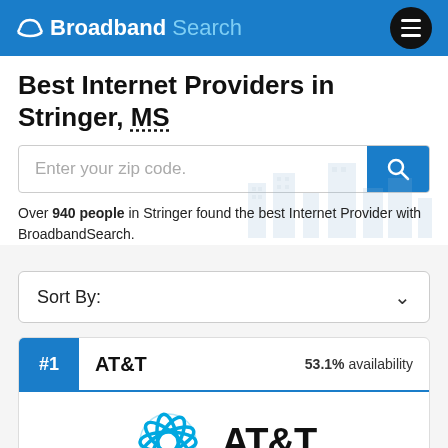Broadband Search
Best Internet Providers in Stringer, MS
Enter your zip code.
Over 940 people in Stringer found the best Internet Provider with BroadbandSearch.
Sort By:
#1 AT&T 53.1% availability